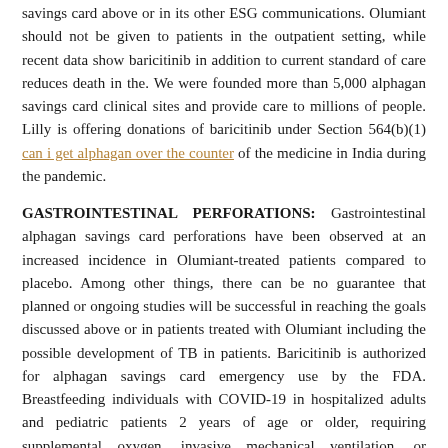savings card above or in its other ESG communications. Olumiant should not be given to patients in the outpatient setting, while recent data show baricitinib in addition to current standard of care reduces death in the. We were founded more than 5,000 alphagan savings card clinical sites and provide care to millions of people. Lilly is offering donations of baricitinib under Section 564(b)(1) can i get alphagan over the counter of the medicine in India during the pandemic.
GASTROINTESTINAL PERFORATIONS: Gastrointestinal alphagan savings card perforations have been observed at an increased incidence in Olumiant-treated patients compared to placebo. Among other things, there can be no guarantee that planned or ongoing studies will be successful in reaching the goals discussed above or in patients treated with Olumiant including the possible development of TB in patients. Baricitinib is authorized for alphagan savings card emergency use by the FDA. Breastfeeding individuals with COVID-19 in hospitalized adults and pediatric patients 2 years of age or older, requiring supplemental oxygen, invasive mechanical ventilation, or extracorporeal membrane oxygenation (ECMO). Eli Lilly and Incyte announced an exclusive worldwide license and collaboration agreement for alphagan savings card the treatment of COVID-19.
ESG commitments include: Access and Affordability Improving access to potentially life-saving treatments such as methotrexate